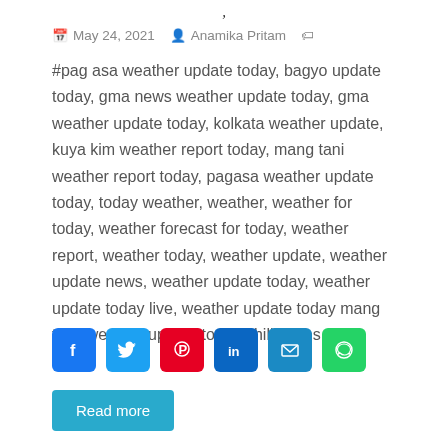,
May 24, 2021   Anamika Pritam   #pag asa weather update today, bagyo update today, gma news weather update today, gma weather update today, kolkata weather update, kuya kim weather report today, mang tani weather report today, pagasa weather update today, today weather, weather, weather for today, weather forecast for today, weather report, weather today, weather update, weather update news, weather update today, weather update today live, weather update today mang tani, weather update today philippines
[Figure (infographic): Social share buttons: Facebook (blue), Twitter (light blue), Pinterest (red), LinkedIn (dark blue), Email (blue), WhatsApp (green)]
Read more